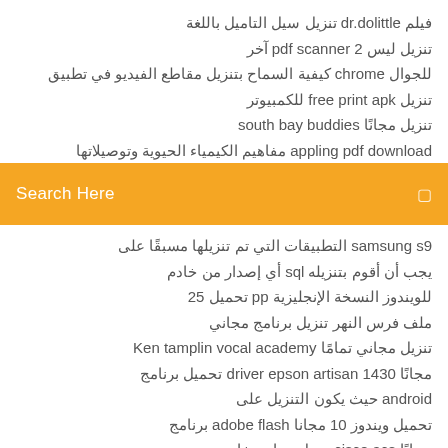فيلم dr.dolittle تنزيل سيل التاميل باللغة
تنزيل ليس pdf scanner 2 آخر
للجوال chrome كيفية السماح بتنزيل مقاطع الفيديو في تطبيق
تنزيل free print apk للكمبيوتر
تنزيل مجانًا south bay buddies
appling pdf download مفاهيم الكيمياء الحيوية وتوصيلاتها
[Figure (screenshot): Orange search bar with 'Search Here' placeholder text and a search icon on the right]
samsung s9 التطبيقات التي تم تنزيلها مسبقًا على
يجب أن أقوم بتنزيله sql أي إصدار من خادم
للويندوز النسخة الإنجليزية pp تحميل 25
ملف فرس النهر تنزيل برنامج مجاني
تنزيل مجاني تمامًا Ken tamplin vocal academy
مجانًا driver epson artisan 1430 تحميل برنامج
android حيث يكون التنزيل على
تحميل ويندوز 10 مجانا adobe flash برنامج
مجانًا cisco acs تنزيل برنامج خادم
game maker تنزيل الإصدار القديم من